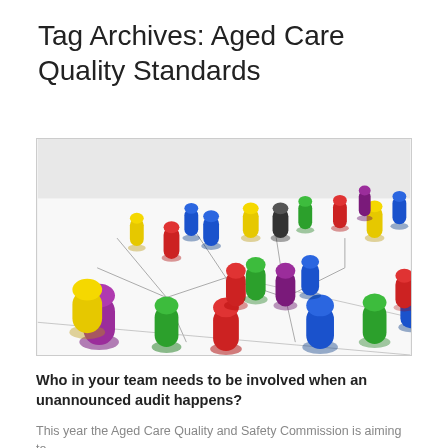Tag Archives: Aged Care Quality Standards
[Figure (photo): Colorful board game pawns (red, green, blue, yellow, purple, black) arranged on a white board with connecting lines, representing team or network connections.]
Who in your team needs to be involved when an unannounced audit happens?
This year the Aged Care Quality and Safety Commission is aiming to